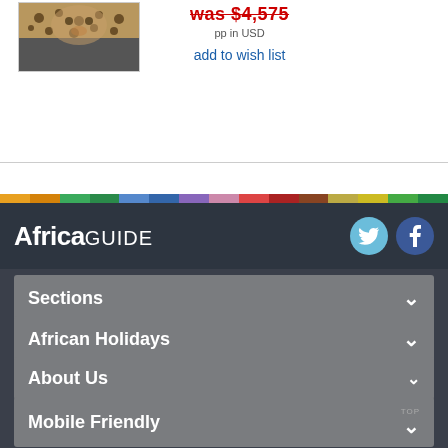[Figure (photo): Leopard resting, spotted coat visible, close-up wildlife photo thumbnail]
was $4,575
pp in USD
add to wish list
[Figure (infographic): Multicolor horizontal bar stripe dividing sections]
AfricaGUIDE
[Figure (logo): Twitter bird icon (cyan circle)]
[Figure (logo): Facebook F icon (blue circle)]
Sections
African Holidays
About Us
Mobile Friendly